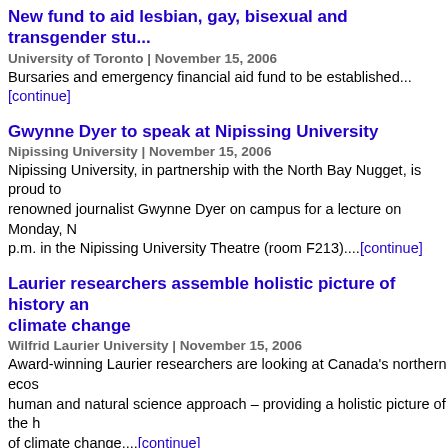New fund to aid lesbian, gay, bisexual and transgender stu...
University of Toronto | November 15, 2006
Bursaries and emergency financial aid fund to be established...[continue]
Gwynne Dyer to speak at Nipissing University
Nipissing University | November 15, 2006
Nipissing University, in partnership with the North Bay Nugget, is proud to...renowned journalist Gwynne Dyer on campus for a lecture on Monday, N...p.m. in the Nipissing University Theatre (room F213)....[continue]
Laurier researchers assemble holistic picture of history and climate change
Wilfrid Laurier University | November 15, 2006
Award-winning Laurier researchers are looking at Canada's northern ecos...human and natural science approach – providing a holistic picture of the h...of climate change....[continue]
Muhammad Yunus: Together we can put an end to poverty...world
St. Mary's University | November 15, 2006
Bookstore...[continue]
McMaster student goes on exchange to England
McMaster University | November 14, 2006
Last semester, I had the opportunity to expand my horizons in a way that...rest of my life. I was lucky enough to go on a McMaster exchange to the U...England...[continue]